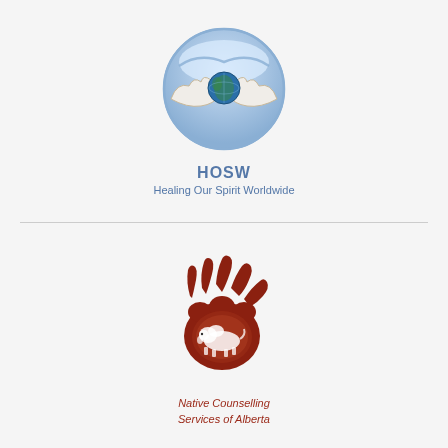[Figure (logo): HOSW – Healing Our Spirit Worldwide circular logo with hands holding a globe, blue and white tones]
HOSW
Healing Our Spirit Worldwide
[Figure (logo): Native Counselling Services of Alberta bear paw logo in dark red/brown with a bison inside and claw marks above]
Native Counselling Services of Alberta